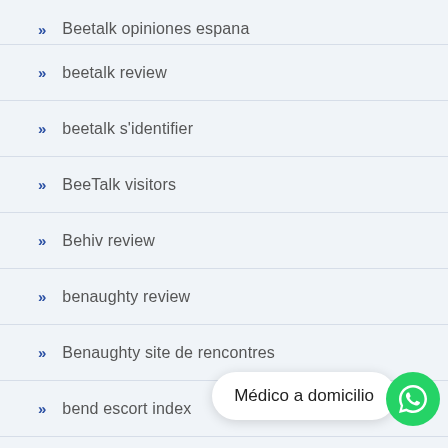Beetalk opiniones espana
beetalk review
beetalk s'identifier
BeeTalk visitors
Behiv review
benaughty review
Benaughty site de rencontres
bend escort index
best casinos in
best essay writing
Médico a domicilio